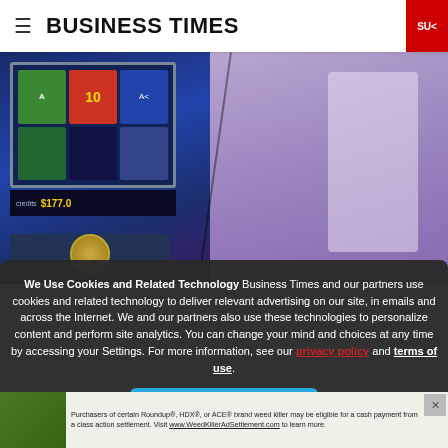BUSINESS TIMES
[Figure (photo): Split photo: left side shows a slot machine screen with colorful symbols and numbers including '10', right side shows a person in a dark jacket with a bag strap visible, purple/lavender tones]
We Use Cookies and Related Technology Business Times and our partners use cookies and related technology to deliver relevant advertising on our site, in emails and across the Internet. We and our partners also use these technologies to personalize content and perform site analytics. You can change your mind and choices at any time by accessing your Settings. For more information, see our privacy policy and terms of use.
AGREE
Purchasers of certain Roundup®, HDX®, or ACE® brand weed killer may be eligible for a cash payment from a class action settlement. Visit www.WeedKillerAdSettlement.com to learn more.